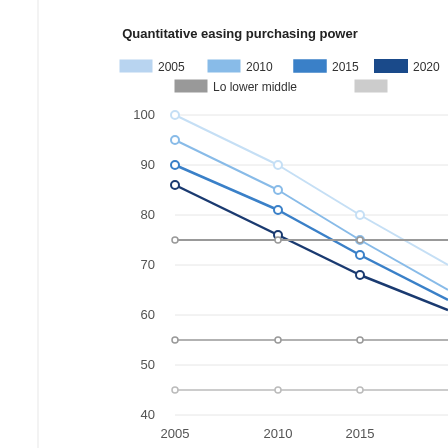[Figure (line-chart): Quantitative easing purchasing power]